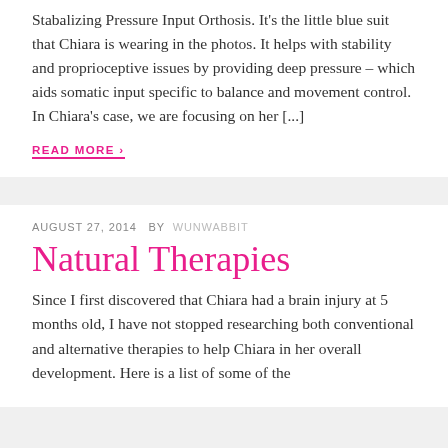Stabalizing Pressure Input Orthosis. It's the little blue suit that Chiara is wearing in the photos. It helps with stability and proprioceptive issues by providing deep pressure – which aids somatic input specific to balance and movement control. In Chiara's case, we are focusing on her [...]
READ MORE ›
AUGUST 27, 2014  BY  WUNWABBIT
Natural Therapies
Since I first discovered that Chiara had a brain injury at 5 months old, I have not stopped researching both conventional and alternative therapies to help Chiara in her overall development. Here is a list of some of the